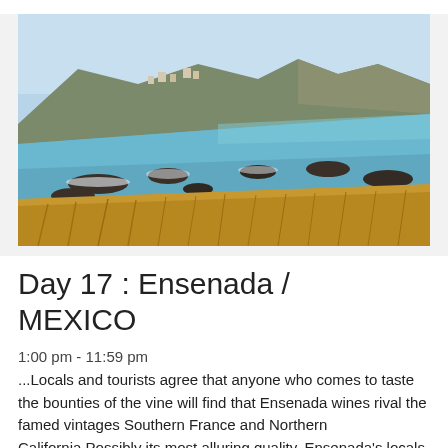[Figure (photo): Coastal scene showing rocky shoreline with blue-green water, dark volcanic rocks, dry golden grass in foreground, and hills with buildings in the background under a clear sky. Likely Ensenada, Mexico.]
Day 17 : Ensenada / MEXICO
1:00 pm - 11:59 pm
...Locals and tourists agree that anyone who comes to taste the bounties of the vine will find that Ensenada wines rival the famed vintages Southern France and Northern California.Possibly its most alluring quality, Ensenada's locals